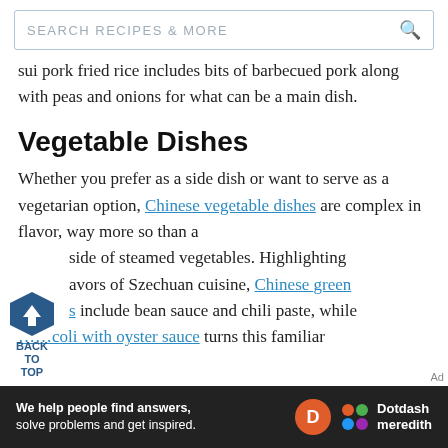SEARCH RECIPES & MORE
sui pork fried rice includes bits of barbecued pork along with peas and onions for what can be a main dish.
Vegetable Dishes
Whether you prefer as a side dish or want to serve as a vegetarian option, Chinese vegetable dishes are complex in flavor, way more so than a side of steamed vegetables. Highlighting flavors of Szechuan cuisine, Chinese green beans include bean sauce and chili paste, while broccoli with oyster sauce turns this familiar
[Figure (other): Back to top navigation button — dark blue hexagon with upward arrow, with 'BACK TO TOP' label below]
Ad
[Figure (logo): Dotdash Meredith advertisement bar: white text 'We help people find answers, solve problems and get inspired.' with orange D logo and Dotdash meredith wordmark on dark background]